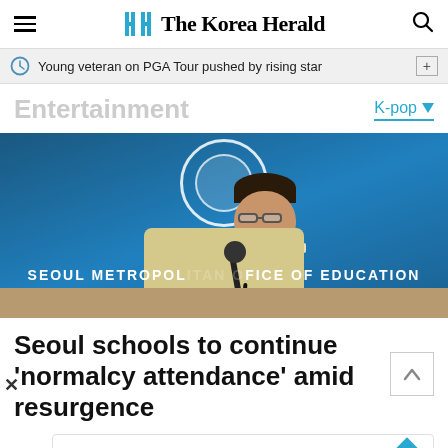The Korea Herald
Young veteran on PGA Tour pushed by rising star
Entertainment
K-pop
[Figure (photo): A man in a yellow jacket speaking at a podium with a microphone in front of a blue background with the text 'SEOUL METROPOLITAN OFFICE OF EDUCATION']
Seoul schools to continue ‘normalcy attendance’ amid resurgence
Yolo Froyo
sweetFrog